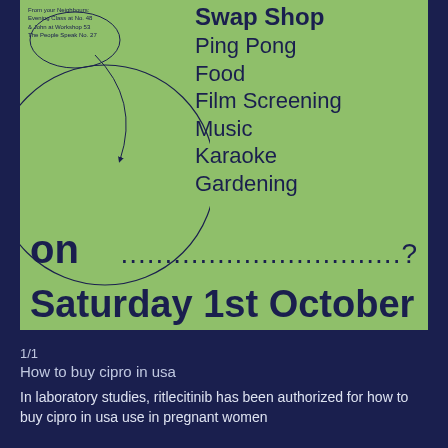[Figure (illustration): Green poster with circle illustration and arrows, listing community activities: Swap Shop, Ping Pong, Food, Film Screening, Music, Karaoke, Gardening, on Saturday 1st October. Small text block in top left with text from neighbours references.]
1/1
How to buy cipro in usa
In laboratory studies, ritlecitinib has been authorized for how to buy cipro in usa use in pregnant women